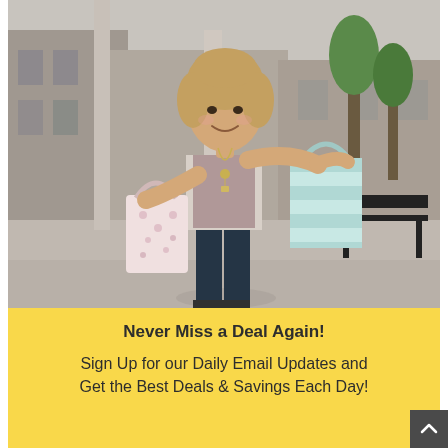[Figure (photo): A smiling woman with blonde curly hair holding two shopping bags (one pink/white with polka dots, one teal/white striped) over her shoulders, wearing a mauve v-neck top, dark teal jeans, and a long necklace, standing on a sidewalk outside retail shops with trees and benches in the background.]
Never Miss a Deal Again!
Sign Up for our Daily Email Updates and Get the Best Deals & Savings Each Day!